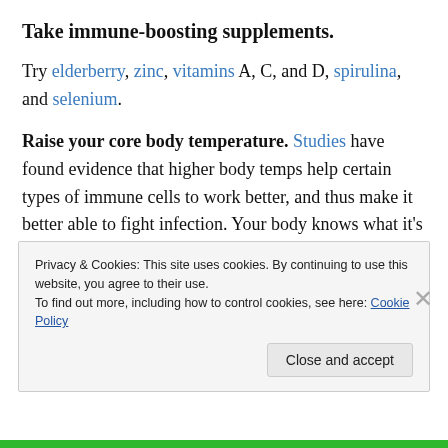Take immune-boosting supplements.
Try elderberry, zinc, vitamins A, C, and D, spirulina, and selenium.
Raise your core body temperature. Studies have found evidence that higher body temps help certain types of immune cells to work better, and thus make it better able to fight infection. Your body knows what it’s doing when you have a fever while sick! It’s thought that you can encourage the same benefits by proactively raising your
Privacy & Cookies: This site uses cookies. By continuing to use this website, you agree to their use.
To find out more, including how to control cookies, see here: Cookie Policy